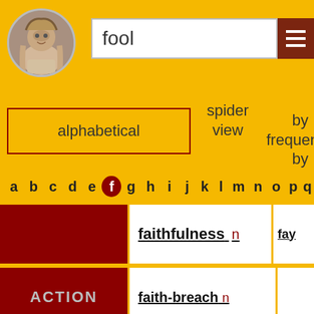[Figure (screenshot): Shakespeare portrait icon in circular frame]
fool
alphabetical
spider view
by frequency
by
a b c d e f g h i j k l m n o p q
|  | word | word2 |
| --- | --- | --- |
|  | faithfulness n | fay |
| ACTION | faith-breach n |  |
| NOT | infidel n | faithless |